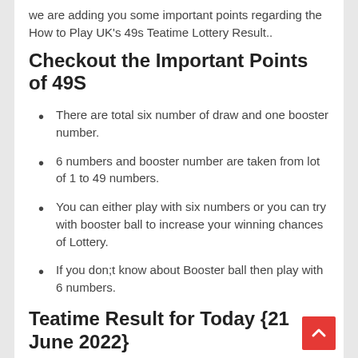we are adding you some important points regarding the How to Play UK's 49s Teatime Lottery Result..
Checkout the Important Points of 49S
There are total six number of draw and one booster number.
6 numbers and booster number are taken from lot of 1 to 49 numbers.
You can either play with six numbers or you can try with booster ball to increase your winning chances of Lottery.
If you don;t know about Booster ball then play with 6 numbers.
Teatime Result for Today {21 June 2022}